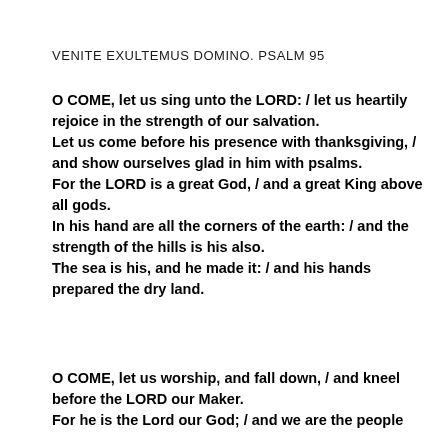VENITE EXULTEMUS DOMINO. PSALM 95
O COME, let us sing unto the LORD: / let us heartily rejoice in the strength of our salvation.
Let us come before his presence with thanksgiving, / and show ourselves glad in him with psalms.
For the LORD is a great God, / and a great King above all gods.
In his hand are all the corners of the earth: / and the strength of the hills is his also.
The sea is his, and he made it: / and his hands prepared the dry land.
O COME, let us worship, and fall down, / and kneel before the LORD our Maker.
For he is the Lord our God; / and we are the people